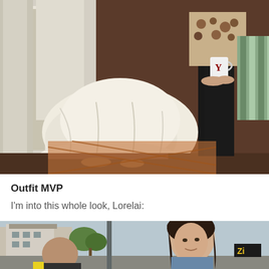[Figure (photo): TV show scene showing lower portion of a person in cream/white layered skirt near curtains, and another person in black pants holding a cup in a living room setting]
Outfit MVP
I'm into this whole look, Lorelai:
[Figure (photo): TV show scene showing a dark-haired woman (Lorelai) outdoors in what appears to be a town street setting]